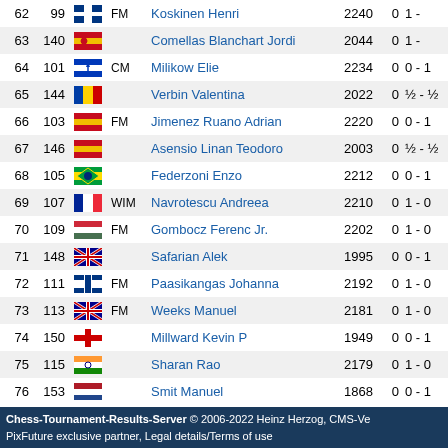| # | Seed | Flag | Title | Name | Rating | Pts | Result |
| --- | --- | --- | --- | --- | --- | --- | --- |
| 62 | 99 | FIN | FM | Koskinen Henri | 2240 | 0 | 1 - |
| 63 | 140 | ESP |  | Comellas Blanchart Jordi | 2044 | 0 | 1 - |
| 64 | 101 | ISR | CM | Milikow Elie | 2234 | 0 | 0 - 1 |
| 65 | 144 | MDA |  | Verbin Valentina | 2022 | 0 | ½ - ½ |
| 66 | 103 | ESP | FM | Jimenez Ruano Adrian | 2220 | 0 | 0 - 1 |
| 67 | 146 | ESP |  | Asensio Linan Teodoro | 2003 | 0 | ½ - ½ |
| 68 | 105 | BRA |  | Federzoni Enzo | 2212 | 0 | 0 - 1 |
| 69 | 107 | FRA | WIM | Navrotescu Andreea | 2210 | 0 | 1 - 0 |
| 70 | 109 | HUN | FM | Gombocz Ferenc Jr. | 2202 | 0 | 1 - 0 |
| 71 | 148 | AUS |  | Safarian Alek | 1995 | 0 | 0 - 1 |
| 72 | 111 | FIN | FM | Paasikangas Johanna | 2192 | 0 | 1 - 0 |
| 73 | 113 | AUS | FM | Weeks Manuel | 2181 | 0 | 1 - 0 |
| 74 | 150 | ENG |  | Millward Kevin P | 1949 | 0 | 0 - 1 |
| 75 | 115 | IND |  | Sharan Rao | 2179 | 0 | 1 - 0 |
| 76 | 153 | NED |  | Smit Manuel | 1868 | 0 | 0 - 1 |
| 77 | 117 | ISL | FM | Thorarinsson Pall A. | 2175 | 0 | 1 - 0 |
| 78 | 155 | KAZ |  | Bogdanov Artyom | 1837 | 0 | 0 - 1 |
| 79 | 47 | PER | GM | Munoz Miguel | 2450 | ½ | 0 |
Chess-Tournament-Results-Server © 2006-2022 Heinz Herzog, CMS-Ve PixFuture exclusive partner, Legal details/Terms of use